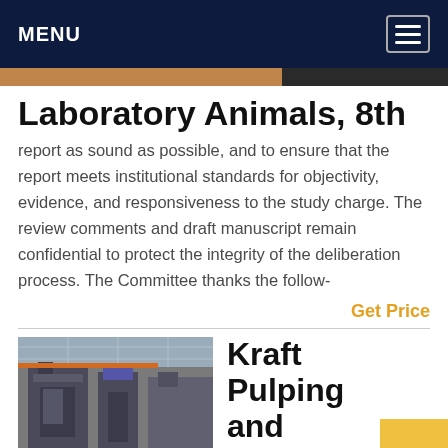MENU
Laboratory Animals, 8th
report as sound as possible, and to ensure that the report meets institutional standards for objectivity, evidence, and responsiveness to the study charge. The review comments and draft manuscript remain confidential to protect the integrity of the deliberation process. The Committee thanks the follow-
Get Price
[Figure (photo): Industrial machinery in a factory/warehouse setting with large press equipment]
Kraft Pulping and Recovery